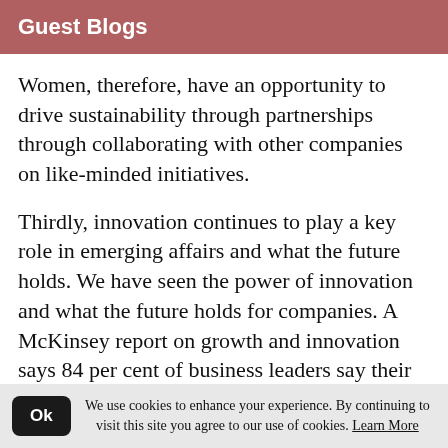Guest Blogs
Women, therefore, have an opportunity to drive sustainability through partnerships through collaborating with other companies on like-minded initiatives.
Thirdly, innovation continues to play a key role in emerging affairs and what the future holds. We have seen the power of innovation and what the future holds for companies. A McKinsey report on growth and innovation says 84 per cent of business leaders say their future success is dependent on innovation.
We use cookies to enhance your experience. By continuing to visit this site you agree to our use of cookies. Learn More